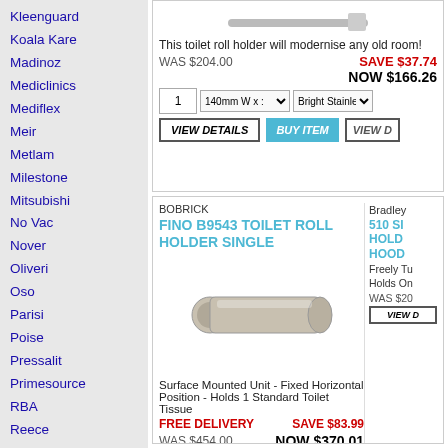Kleenguard
Koala Kare
Madinoz
Mediclinics
Mediflex
Meir
Metlam
Milestone
Mitsubishi
No Vac
Nover
Oliveri
Oso
Parisi
Poise
Pressalit
Primesource
RBA
Reece
Rogerseller
Rubbermaid
Scott
Solvol
BOBRICK
FINO B9543 TOILET ROLL HOLDER SINGLE
[Figure (photo): Toilet roll holder product image - cylindrical horizontal bar with round end cap, satin stainless finish]
Surface Mounted Unit - Fixed Horizontal Position - Holds 1 Standard Toilet Tissue
FREE DELIVERY   SAVE $83.99
WAS $454.00   NOW $370.01
This toilet roll holder will modernise any old room!
SAVE $37.74  WAS $204.00  NOW $166.26
Bradley
510 SI... HOLD... HOOD...
Secured ... set screw...
WAS $2...